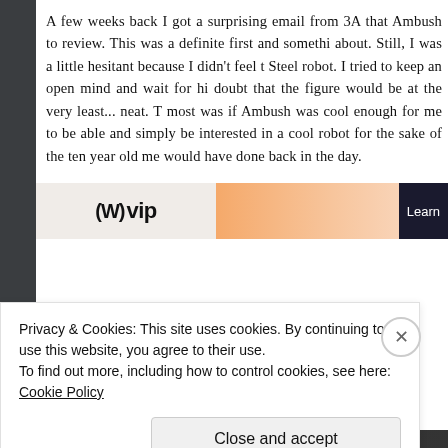A few weeks back I got a surprising email from 3A that Ambush to review. This was a definite first and somethi about. Still, I was a little hesitant because I didn't feel t Steel robot. I tried to keep an open mind and wait for hi doubt that the figure would be at the very least... neat. T most was if Ambush was cool enough for me to be able and simply be interested in a cool robot for the sake of the ten year old me would have done back in the day.
[Figure (screenshot): Advertisement banner showing WVip logo on left and a gradient orange/pink banner on right with a 'Learn' button]
Privacy & Cookies: This site uses cookies. By continuing to use this website, you agree to their use. To find out more, including how to control cookies, see here: Cookie Policy
Close and accept